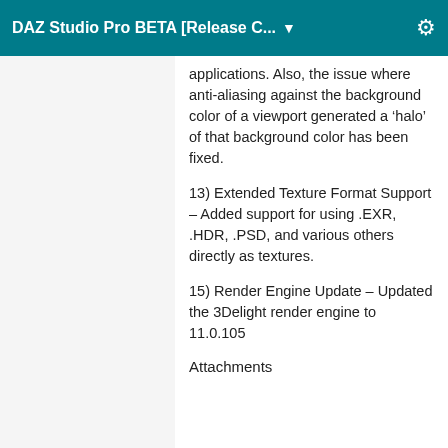DAZ Studio Pro BETA [Release C... ▼
applications. Also, the issue where anti-aliasing against the background color of a viewport generated a 'halo' of that background color has been fixed.
13) Extended Texture Format Support – Added support for using .EXR, .HDR, .PSD, and various others directly as textures.
15) Render Engine Update – Updated the 3Delight render engine to 11.0.105
Attachments